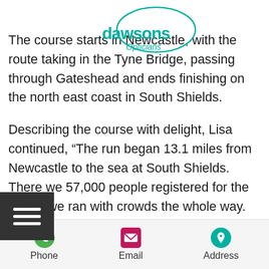[Figure (logo): Dawsons logo with teal circular outline and teal bold text 'dawsons' with cursive text beneath]
The course starts in Newcastle, with the route taking in the Tyne Bridge, passing through Gateshead and ends finishing on the north east coast in South Shields.
Describing the course with delight, Lisa continued, “The run began 13.1 miles from Newcastle to the sea at South Shields. There we 57,000 people registered for the run,so we ran with crowds the whole way. There was a constant supply of jelly babies, oranges, ice lollies and even sausage rolls to keep us going. After crossing the finish line we were welcomed by Guide Dog
Phone   Email   Address